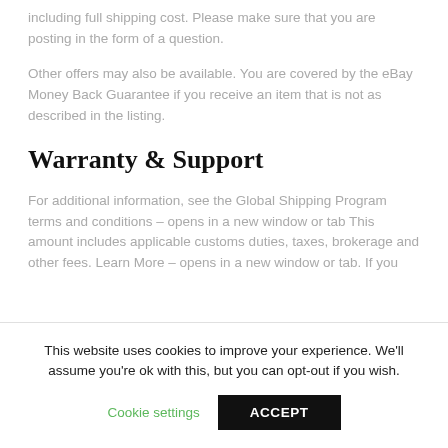including full shipping cost. Please make sure that you are posting in the form of a question.
Other offers may also be available. You are covered by the eBay Money Back Guarantee if you receive an item that is not as described in the listing.
Warranty & Support
For additional information, see the Global Shipping Program terms and conditions – opens in a new window or tab This amount includes applicable customs duties, taxes, brokerage and other fees. Learn More – opens in a new window or tab. If you
This website uses cookies to improve your experience. We'll assume you're ok with this, but you can opt-out if you wish.
Cookie settings
ACCEPT